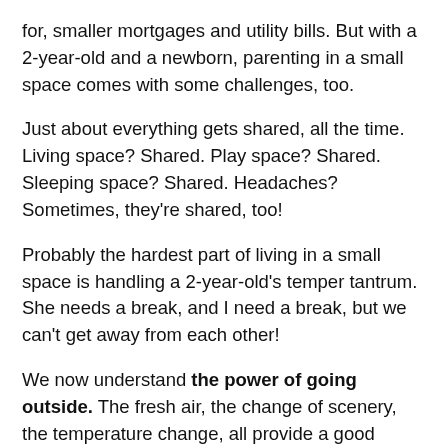for, smaller mortgages and utility bills. But with a 2-year-old and a newborn, parenting in a small space comes with some challenges, too.
Just about everything gets shared, all the time. Living space? Shared. Play space? Shared. Sleeping space? Shared. Headaches? Sometimes, they're shared, too!
Probably the hardest part of living in a small space is handling a 2-year-old's temper tantrum. She needs a break, and I need a break, but we can't get away from each other!
We now understand the power of going outside. The fresh air, the change of scenery, the temperature change, all provide a good opportunity to take a breath. During an outburst, it calms us down. But we live in the mountains, so this is not always a viable solution. When it's 10 below or raining (both of which happen frequently!), we make a point to look out the window and find something outside to focus